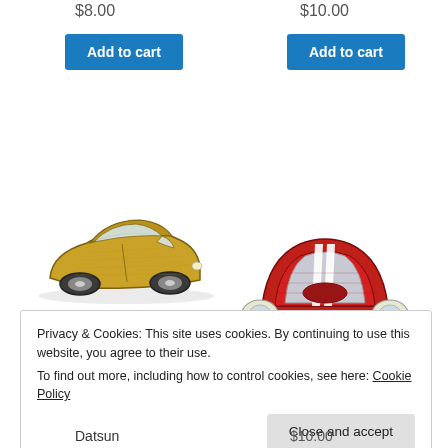$8.00
$10.00
Add to cart
Add to cart
[Figure (illustration): Illustration of a gold/yellow classic sports car (side view), embroidery style]
[Figure (illustration): Illustration of a red Mini Cooper car (front 3/4 view), embroidery style]
Privacy & Cookies: This site uses cookies. By continuing to use this website, you agree to their use.
To find out more, including how to control cookies, see here: Cookie Policy
Close and accept
Datsun
$10.00